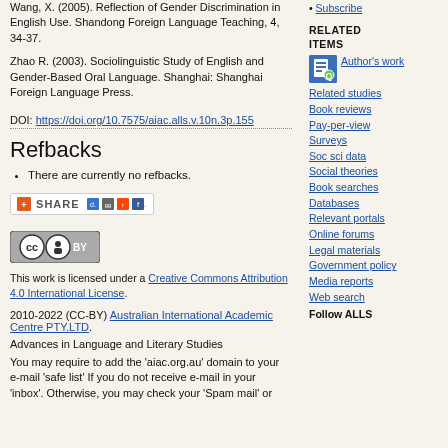Wang, X. (2005). Reflection of Gender Discrimination in English Use. Shandong Foreign Language Teaching, 4, 34-37.
Zhao R. (2003). Sociolinguistic Study of English and Gender-Based Oral Language. Shanghai: Shanghai Foreign Language Press.
DOI: https://doi.org/10.7575/aiac.alls.v.10n.3p.155
Refbacks
There are currently no refbacks.
[Figure (other): Share button with icons for various social bookmarking services including del.icio.us, Reddit, Facebook]
[Figure (other): Creative Commons Attribution license badge (CC BY)]
This work is licensed under a Creative Commons Attribution 4.0 International License.
2010-2022 (CC-BY) Australian International Academic Centre PTY.LTD.
Advances in Language and Literary Studies
You may require to add the 'aiac.org.au' domain to your e-mail 'safe list' If you do not receive e-mail in your 'inbox'. Otherwise, you may check your 'Spam mail' or
Subscribe
RELATED ITEMS
Author's work
Related studies
Book reviews
Pay-per-view
Surveys
Soc sci data
Social theories
Book searches
Databases
Relevant portals
Online forums
Legal materials
Government policy
Media reports
Web search
Follow ALLS